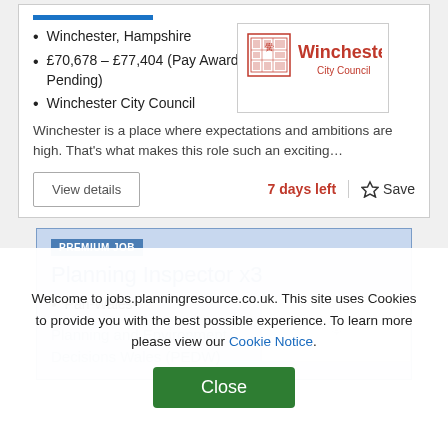Winchester, Hampshire
£70,678 – £77,404 (Pay Award Pending)
Winchester City Council
[Figure (logo): Winchester City Council logo with red crest and text]
Winchester is a place where expectations and ambitions are high. That's what makes this role such an exciting…
View details
7 days left
Save
PREMIUM JOB
Planning Inspector x3
Pan-Wales
[Figure (logo): Planning and Environment Decisions Wales (PEDW) faded logo]
Welcome to jobs.planningresource.co.uk. This site uses Cookies to provide you with the best possible experience. To learn more please view our Cookie Notice.
Close